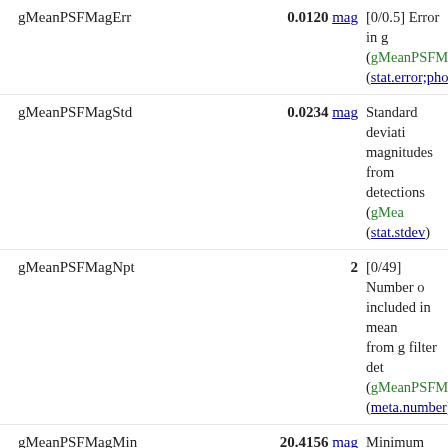| Field | Value | Description |
| --- | --- | --- |
| gMeanPSFMagErr | 0.0120 mag | [0/0.5] Error in g (gMeanPSFMag (stat.error;phot.m |
| gMeanPSFMagStd | 0.0234 mag | Standard deviation magnitudes from detections (gMea (stat.stdev) |
| gMeanPSFMagNpt | 2 | [0/49] Number of included in mean from g filter dete (gMeanPSFMag (meta.number) |
| gMeanPSFMagMin | 20.4156 mag | Minimum PSF A from g filter dete (gMeanPSFMag (stat.error;phot.m |
| gMeanPSFMagMax | 20.4397 mag | Maximum PSF A from g filter dete (gMeanPSFMag (stat.error;phot.m |
| gMeanKronMag | 20.0649 mag | Mean Kron (198 magnitude from detections (gMea (phot.mag;em.or |